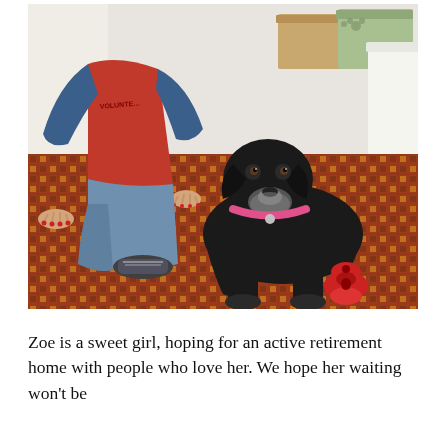[Figure (photo): A black Labrador dog wearing a pink collar lying on a patterned carpet next to a red Kong toy. Behind the dog, a person wearing a red volunteer vest and blue jeans is crouching down with both hands resting near the dog. The background shows storage boxes and shelving in what appears to be an animal shelter.]
Zoe is a sweet girl, hoping for an active retirement home with people who love her. We hope her waiting won't be